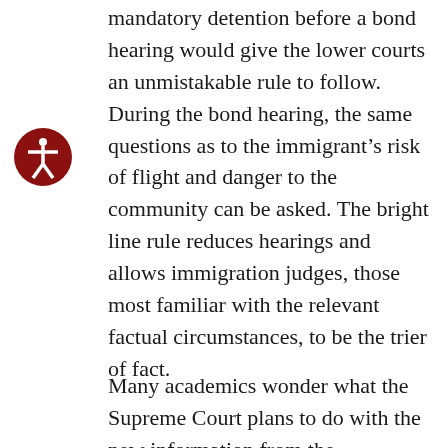mandatory detention before a bond hearing would give the lower courts an unmistakable rule to follow. During the bond hearing, the same questions as to the immigrant's risk of flight and danger to the community can be asked. The bright line rule reduces hearings and allows immigration judges, those most familiar with the relevant factual circumstances, to be the trier of fact.
Many academics wonder what the Supreme Court plans to do with the new information from the Department of Justice. The release of this information could either help or harm immigrants in mandatory detention. The Supreme Court is likely to address the Department of Justice's mistake in their Jennings v. Rodriguez opinion. The Court should